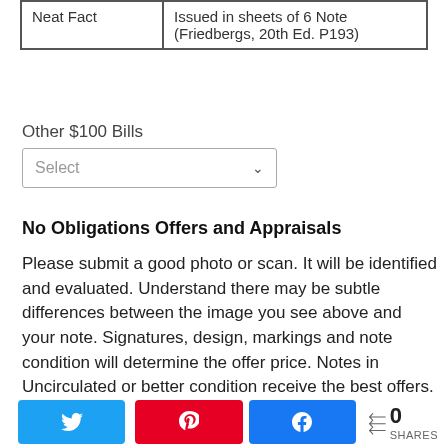| Neat Fact |  |
| --- | --- |
| Neat Fact | Issued in sheets of 6 Note (Friedbergs, 20th Ed. P193) |
Other $100 Bills
[Figure (other): Dropdown select box labeled 'Select']
No Obligations Offers and Appraisals
Please submit a good photo or scan. It will be identified and evaluated. Understand there may be subtle differences between the image you see above and your note. Signatures, design, markings and note condition will determine the offer price. Notes in Uncirculated or better condition receive the best offers.
[Figure (other): Social share buttons: Twitter, Pinterest, Facebook, and share count showing 0 SHARES]